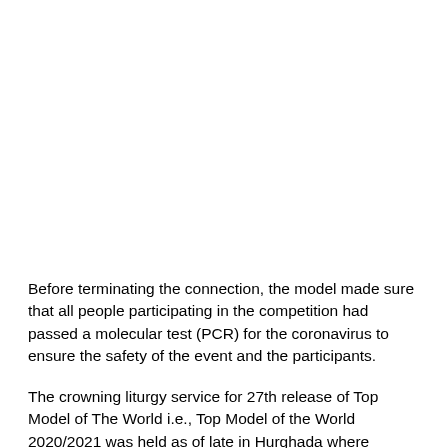Before terminating the connection, the model made sure that all people participating in the competition had passed a molecular test (PCR) for the coronavirus to ensure the safety of the event and the participants.
The crowning liturgy service for 27th release of Top Model of The World i.e., Top Model of the World 2020/2021 was held as of late in Hurghada where Pierinna Patiño from Peru was decreed as the victor.